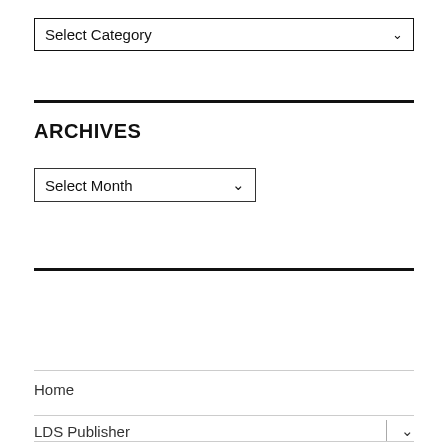[Figure (screenshot): A dropdown widget labeled 'Select Category' with a chevron arrow on the right, bordered box.]
ARCHIVES
[Figure (screenshot): A dropdown widget labeled 'Select Month' with a chevron arrow on the right, bordered box.]
Home
LDS Publisher